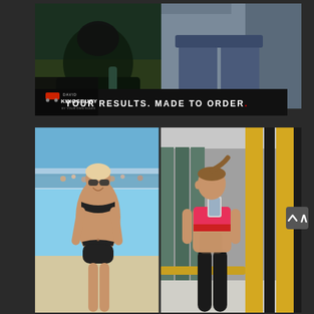[Figure (photo): Top composite: before/after body transformation photos side by side. Left shows a dark gym setting with a larger body silhouette. Right shows legs in jeans. Below the photos is a dark banner with the David Kingsbury logo on the left and the text 'YOUR RESULTS. MADE TO ORDER.' in white with a red dot.]
[Figure (photo): Bottom composite: two photos side by side. Left shows a woman in a black bikini on a beach (before photo). Right shows the same woman in a pink sports bra and black leggings taking a gym mirror selfie (after photo). Yellow and black lockers visible in the background.]